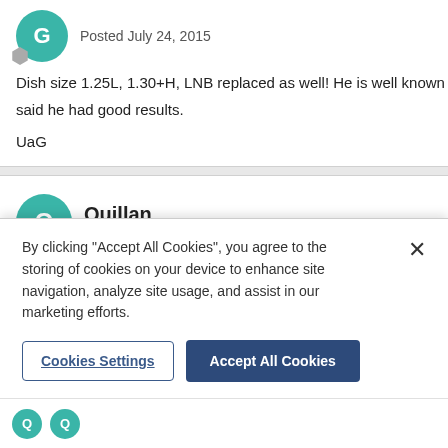Posted July 24, 2015
Dish size 1.25L, 1.30+H, LNB replaced as well! He is well known in Lim... said he had good results.
UaG
Quillan
Posted July 24, 2015
[quote user="Un autre Gallois"]Dish size 1.25L, 1.30+H, LNB replaced...
when the signals changed etc, said he had good results. UaG[/quote...
By clicking “Accept All Cookies”, you agree to the storing of cookies on your device to enhance site navigation, analyze site usage, and assist in our marketing efforts.